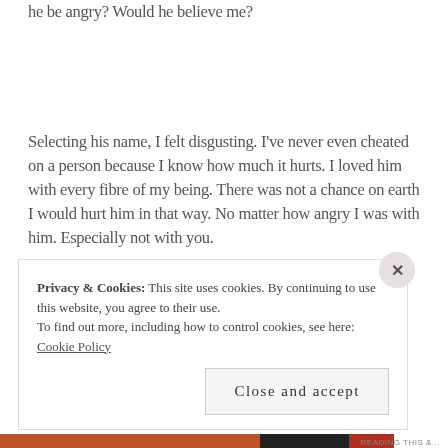he be angry? Would he believe me?
Selecting his name, I felt disgusting. I’ve never even cheated on a person because I know how much it hurts. I loved him with every fibre of my being. There was not a chance on earth I would hurt him in that way. No matter how angry I was with him. Especially not with you.
Have you ever had to tell something utterly heartbreaking to
Privacy & Cookies: This site uses cookies. By continuing to use this website, you agree to their use.
To find out more, including how to control cookies, see here: Cookie Policy
Close and accept